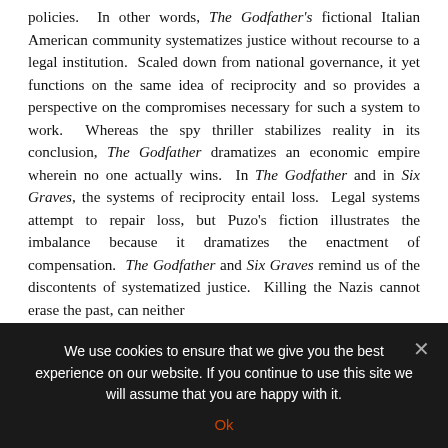policies. In other words, The Godfather's fictional Italian American community systematizes justice without recourse to a legal institution. Scaled down from national governance, it yet functions on the same idea of reciprocity and so provides a perspective on the compromises necessary for such a system to work. Whereas the spy thriller stabilizes reality in its conclusion, The Godfather dramatizes an economic empire wherein no one actually wins. In The Godfather and in Six Graves, the systems of reciprocity entail loss. Legal systems attempt to repair loss, but Puzo's fiction illustrates the imbalance because it dramatizes the enactment of compensation. The Godfather and Six Graves remind us of the discontents of systematized justice. Killing the Nazis cannot erase the past, can neither
We use cookies to ensure that we give you the best experience on our website. If you continue to use this site we will assume that you are happy with it.
Ok